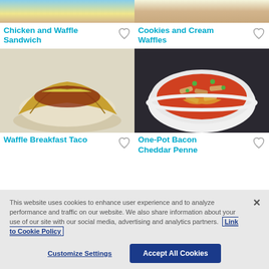[Figure (photo): Partial top image of Chicken and Waffle Sandwich on a blue plate]
[Figure (photo): Partial top image of Cookies and Cream Waffles on a plate]
Chicken and Waffle Sandwich
Cookies and Cream Waffles
[Figure (photo): Waffle Breakfast Taco on a white plate]
[Figure (photo): One-Pot Bacon Cheddar Penne pasta in a white bowl]
Waffle Breakfast Taco
One-Pot Bacon Cheddar Penne
This website uses cookies to enhance user experience and to analyze performance and traffic on our website. We also share information about your use of our site with our social media, advertising and analytics partners. Link to Cookie Policy
Customize Settings
Accept All Cookies